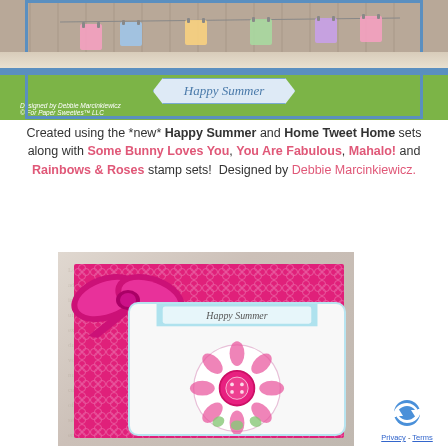[Figure (photo): Top portion of a handmade greeting card showing clothesline with colorful items hanging, a green banner strip with blue border, and a pennant banner reading 'Happy Summer' in blue italic text. Small credit text reads 'Designed by Debbie Marcinkiewicz © For Paper Sweeties™ LLC']
Created using the *new* Happy Summer and Home Tweet Home sets along with Some Bunny Loves You, You Are Fabulous, Mahalo! and Rainbows & Roses stamp sets!  Designed by Debbie Marcinkiewicz.
[Figure (photo): Handmade greeting card with pink/hot-pink background featuring a large hot pink bow at top left, an inner white scalloped card with floral mandala design and pink button center, and a 'Happy Summer' pennant banner. Background has vintage script paper texture.]